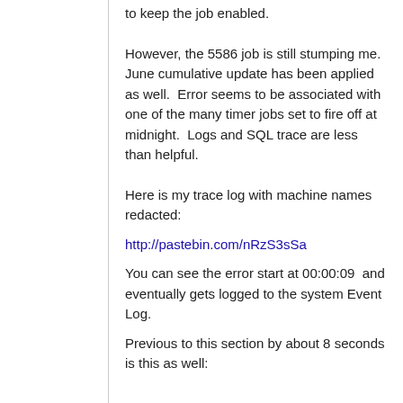to keep the job enabled.
However, the 5586 job is still stumping me.  June cumulative update has been applied as well.  Error seems to be associated with one of the many timer jobs set to fire off at midnight.  Logs and SQL trace are less than helpfул.
Here is my trace log with machine names redacted:
http://pastebin.com/nRzS3sSa
You can see the error start at 00:00:09  and eventually gets logged to the system Event Log.
Previous to this section by about 8 seconds is this as well: